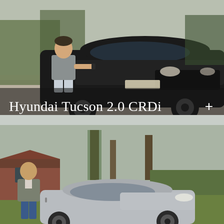[Figure (photo): Man in grey t-shirt and shorts standing next to a dark Hyundai Tucson SUV in a driveway with gravel and foliage]
Hyundai Tucson 2.0 CRDi Premium SE
[Figure (photo): Man in grey blazer and jeans standing next to a silver saloon car in a garden setting with trees and brick outbuildings]